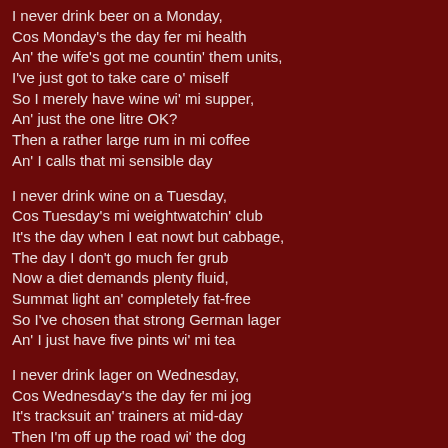I never drink beer on a Monday,
Cos Monday's the day fer mi health
An' the wife's got me countin' them units,
I've just got to take care o' miself
So I merely have wine wi' mi supper,
An' just the one litre OK?
Then a rather large rum in mi coffee
An' I calls that mi sensible day

I never drink wine on a Tuesday,
Cos Tuesday's mi weightwatchin' club
It's the day when I eat nowt but cabbage,
The day I don't go much fer grub
Now a diet demands plenty fluid,
Summat light an' completely fat-free
So I've chosen that strong German lager
An' I just have five pints wi' mi tea

I never drink lager on Wednesday,
Cos Wednesday's the day fer mi jog
It's tracksuit an' trainers at mid-day
Then I'm off up the road wi' the dog